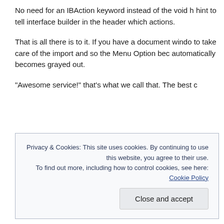No need for an IBAction keyword instead of the void hint to tell interface builder in the header which actions.
That is all there is to it. If you have a document window to take care of the import and so the Menu Option becomes automatically becomes grayed out.
“Awesome service!” that’s what we call that. The best c
Privacy & Cookies: This site uses cookies. By continuing to use this website, you agree to their use. To find out more, including how to control cookies, see here: Cookie Policy
Close and accept